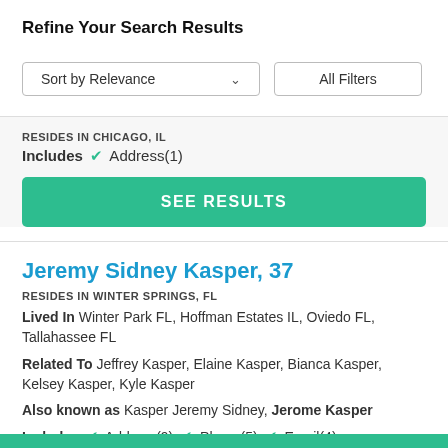Refine Your Search Results
[Figure (screenshot): Sort by Relevance dropdown button and All Filters button]
RESIDES IN CHICAGO, IL
Includes ✓ Address(1)
SEE RESULTS
Jeremy Sidney Kasper, 37
RESIDES IN WINTER SPRINGS, FL
Lived In Winter Park FL, Hoffman Estates IL, Oviedo FL, Tallahassee FL
Related To Jeffrey Kasper, Elaine Kasper, Bianca Kasper, Kelsey Kasper, Kyle Kasper
Also known as Kasper Jeremy Sidney, Jerome Kasper
Includes ✓ Address(9) ✓ Phone(5) ✓ Email(4)